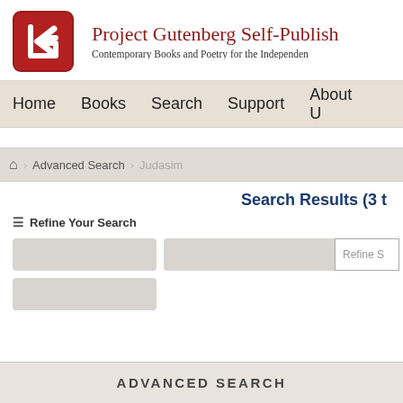[Figure (logo): Project Gutenberg Self-Publishing Press logo - red rounded square with white G letter mark]
Project Gutenberg Self-Publishing Press
Contemporary Books and Poetry for the Independent Author
Home  Books  Search  Support  About Us
Advanced Search  Judasim
Search Results (3 t
Refine Your Search
Refine S
ADVANCED SEARCH